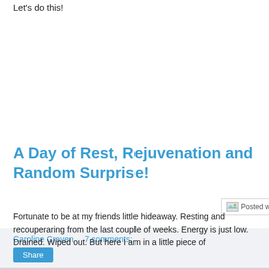Let's do this!
[Figure (other): Broken image placeholder labeled 'Posted with Blogsy' with a link 'Posted with Blogsy' in blue]
Caroline Craven    7 comments:
Share
A Day of Rest, Rejuvenation and Random Surprise!
Fortunate to be at my friends little hideaway. Resting and recouperaring from the last couple of weeks. Energy is just low. Drained. Wiped out. But here I am in a little piece of